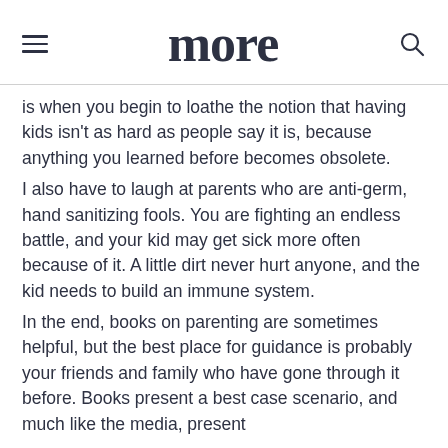more
is when you begin to loathe the notion that having kids isn't as hard as people say it is, because anything you learned before becomes obsolete.
I also have to laugh at parents who are anti-germ, hand sanitizing fools. You are fighting an endless battle, and your kid may get sick more often because of it. A little dirt never hurt anyone, and the kid needs to build an immune system.
In the end, books on parenting are sometimes helpful, but the best place for guidance is probably your friends and family who have gone through it before. Books present a best case scenario, and much like the media, present